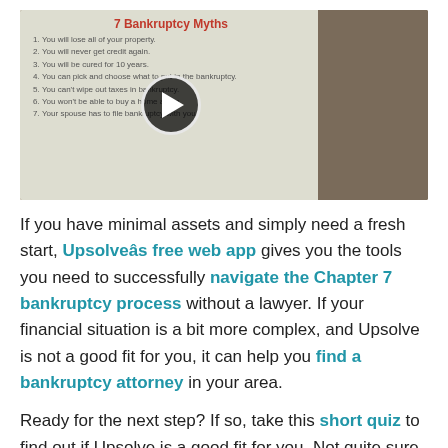[Figure (screenshot): Video thumbnail showing a man in a suit standing next to a whiteboard titled '7 Bankruptcy Myths' with 7 handwritten items listed, overlaid with a play button circle in the center.]
If you have minimal assets and simply need a fresh start, Upsolveâs free web app gives you the tools you need to successfully navigate the Chapter 7 bankruptcy process without a lawyer. If your financial situation is a bit more complex, and Upsolve is not a good fit for you, it can help you find a bankruptcy attorney in your area.
Ready for the next step? If so, take this short quiz to find out if Upsolve is a good fit for you. Not quite sure how it works? Check out this